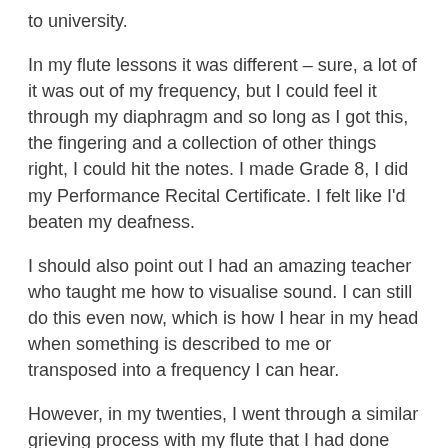to university.
In my flute lessons it was different – sure, a lot of it was out of my frequency, but I could feel it through my diaphragm and so long as I got this, the fingering and a collection of other things right, I could hit the notes. I made Grade 8, I did my Performance Recital Certificate. I felt like I'd beaten my deafness.
I should also point out I had an amazing teacher who taught me how to visualise sound. I can still do this even now, which is how I hear in my head when something is described to me or transposed into a frequency I can hear.
However, in my twenties, I went through a similar grieving process with my flute that I had done with my violin. I cried tears of frustration in my lessons as music sailed out of my frequency and became nothing. And then I stopped that, too. Playing music at that point only seemed to remind me what I had lost. I even stopped going to concerts for a while. They made me too emotional.